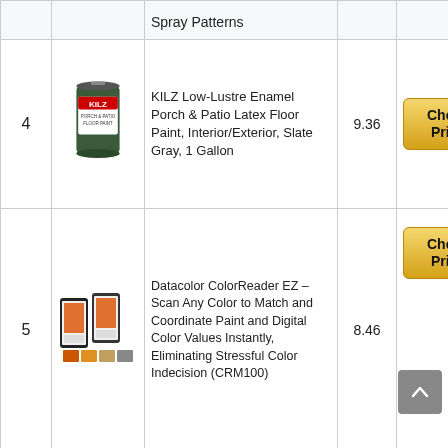| # | Image | Product | Score | Action |
| --- | --- | --- | --- | --- |
|  |  | Spray Patterns |  |  |
| 4 | [KILZ can image] | KILZ Low-Lustre Enamel Porch & Patio Latex Floor Paint, Interior/Exterior, Slate Gray, 1 Gallon | 9.36 | Check Price |
| 5 | [ColorReader EZ image] | Datacolor ColorReader EZ – Scan Any Color to Match and Coordinate Paint and Digital Color Values Instantly, Eliminating Stressful Color Indecision (CRM100) | 8.46 | Check Price |
|  |  | KILZ... |  |  |